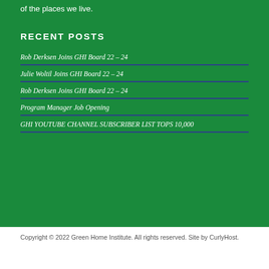of the places we live.
RECENT POSTS
Rob Derksen Joins GHI Board 22 – 24
Julie Woltil Joins GHI Board 22 – 24
Rob Derksen Joins GHI Board 22 – 24
Program Manager Job Opening
GHI YOUTUBE CHANNEL SUBSCRIBER LIST TOPS 10,000
Copyright © 2022 Green Home Institute. All rights reserved. Site by CurlyHost.